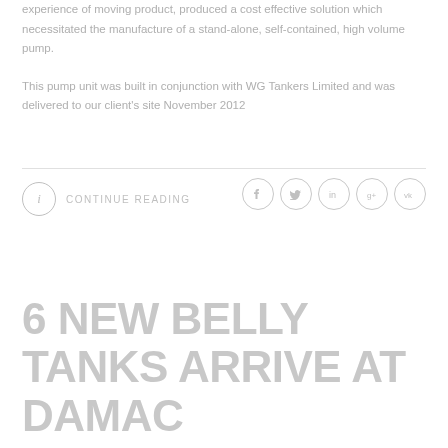experience of moving product, produced a cost effective solution which necessitated the manufacture of a stand-alone, self-contained, high volume pump.
This pump unit was built in conjunction with WG Tankers Limited and was delivered to our client's site November 2012
CONTINUE READING
6 NEW BELLY TANKS ARRIVE AT DAMAC